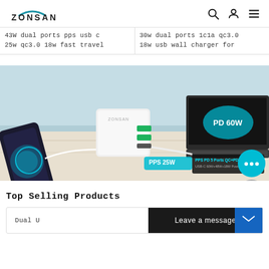ZONSAN
43W dual ports pps usb c 25w qc3.0 18w fast travel
30w dual ports 1c1a qc3.0 18w usb wall charger for
[Figure (photo): Product photo of a white multi-port USB charger (ZONSAN brand) on a desk, connected to a smartphone and a laptop via USB cables, with glowing indicators showing PD 60W and PPS 25W charging. Text overlay shows 'PPS USB-C PD 5 Ports QC+PD Charger'.]
Top Selling Products
Dual U
Leave a message